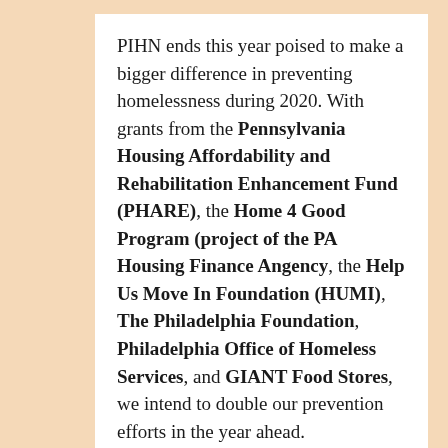PIHN ends this year poised to make a bigger difference in preventing homelessness during 2020. With grants from the Pennsylvania Housing Affordability and Rehabilitation Enhancement Fund (PHARE), the Home 4 Good Program (project of the PA Housing Finance Angency, the Help Us Move In Foundation (HUMI), The Philadelphia Foundation, Philadelphia Office of Homeless Services, and GIANT Food Stores, we intend to double our prevention efforts in the year ahead.
There is still time to help Philadelphia Interfaith Hospitality Network during 2019! Every individual contribution, large or small, makes a difference. Please refer to our year-end Appeal letter for details on PIHN's achievements reached